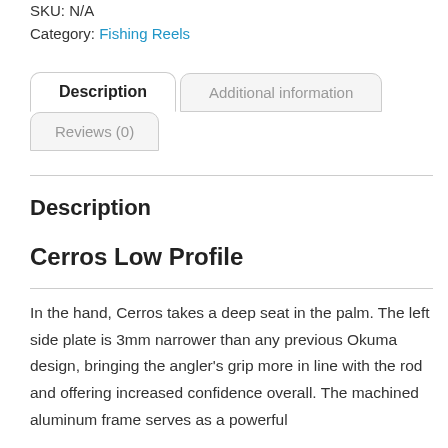SKU: N/A
Category: Fishing Reels
[Figure (screenshot): Tab navigation UI with three tabs: 'Description' (active/selected), 'Additional information', and 'Reviews (0)']
Description
Cerros Low Profile
In the hand, Cerros takes a deep seat in the palm. The left side plate is 3mm narrower than any previous Okuma design, bringing the angler's grip more in line with the rod and offering increased confidence overall. The machined aluminum frame serves as a powerful